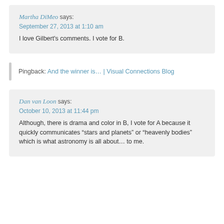Martha DiMeo says: September 27, 2013 at 1:10 am
I love Gilbert's comments. I vote for B.
Pingback: And the winner is… | Visual Connections Blog
Dan van Loon says: October 10, 2013 at 11:44 pm
Although, there is drama and color in B, I vote for A because it quickly communicates “stars and planets” or “heavenly bodies” which is what astronomy is all about… to me.